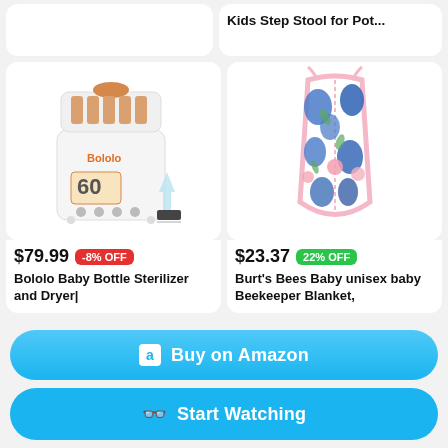Kids Step Stool for Pot...
[Figure (photo): Bololo Baby Bottle Sterilizer and Dryer product photo showing white appliance with orange accents and digital display showing 60]
$79.99 -8% OFF
Bololo Baby Bottle Sterilizer and Dryer|
[Figure (photo): Burt's Bees Baby unisex baby Beekeeper Blanket wearable sleeping bag with blue and pink floral pattern on white background]
$23.37 22% OFF
Burt's Bees Baby unisex baby Beekeeper Blanket,
Buy on Amazon
Start Watching